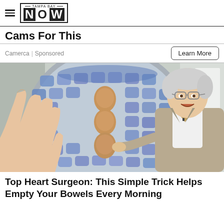TAMPA BAY NOW
Cams For This
Camerca | Sponsored
[Figure (photo): Photo of an elderly doctor/surgeon in a suit pointing at a large round tray or bowl filled with blue ice packs, with three brown eggs arranged vertically in the center. A hand holds up the tray on the left side.]
Top Heart Surgeon: This Simple Trick Helps Empty Your Bowels Every Morning